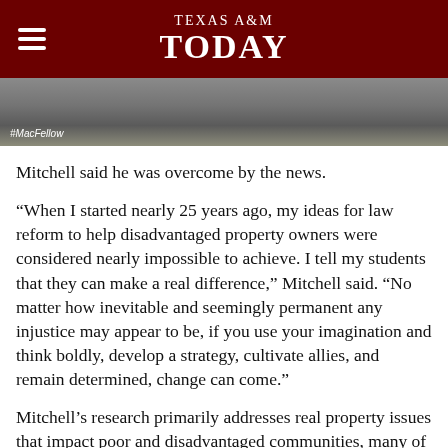TEXAS A&M TODAY
[Figure (photo): Photo strip showing feet/legs of a person walking on a path covered with autumn leaves. A hashtag label #MacFellow appears in the lower left corner.]
Mitchell said he was overcome by the news.
“When I started nearly 25 years ago, my ideas for law reform to help disadvantaged property owners were considered nearly impossible to achieve. I tell my students that they can make a real difference,” Mitchell said. “No matter how inevitable and seemingly permanent any injustice may appear to be, if you use your imagination and think boldly, develop a strategy, cultivate allies, and remain determined, change can come.”
Mitchell’s research primarily addresses real property issues that impact poor and disadvantaged communities, many of which are rural. He seeks to understand how the ability or inability of individuals or communities to build and retain assets can impact